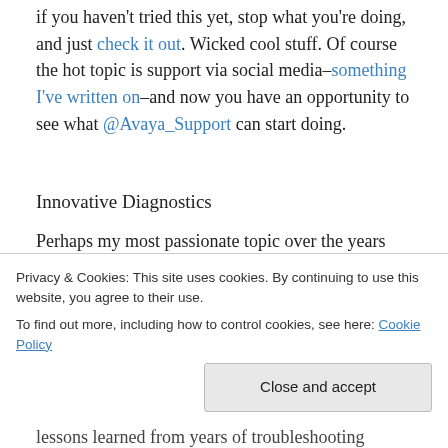if you haven't tried this yet, stop what you're doing, and just check it out. Wicked cool stuff. Of course the hot topic is support via social media–something I've written on–and now you have an opportunity to see what @Avaya_Support can start doing.
Innovative Diagnostics
Perhaps my most passionate topic over the years has been around diagnostics for Avaya products.
Avaya Support continues to raise the bar in the space of diagnostics...
Privacy & Cookies: This site uses cookies. By continuing to use this website, you agree to their use.
To find out more, including how to control cookies, see here: Cookie Policy
lessons learned from years of troubleshooting hundreds of